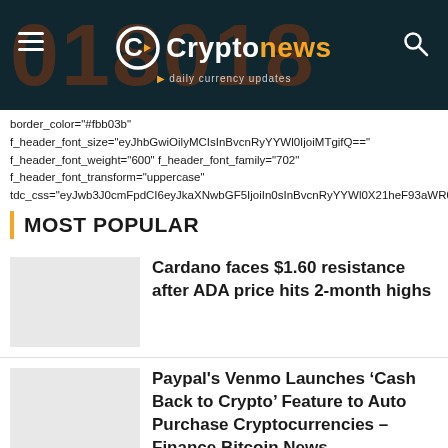[Figure (screenshot): Cryptonews website header banner with dark background showing large red numbers, hamburger menu on left, Cryptonews logo in center with orange C icon, and search icon on right]
border_color="#fbb03b" f_header_font_size="eyJhbGwiOilyMCIsInBvcnRyYYWl0IjoiMTgifQ==" f_header_font_weight="600" f_header_font_family="702" f_header_font_transform="uppercase" tdc_css="eyJwb3J0cmFpdCI6eyJkaXNwbGF5IjoiIn0sInBvcnRyYYWl0X21heF93aWR0aCI6
MOST POPULAR
Cardano faces $1.60 resistance after ADA price hits 2-month highs
Paypal's Venmo Launches ‘Cash Back to Crypto’ Feature to Auto Purchase Cryptocurrencies – Finance Bitcoin News